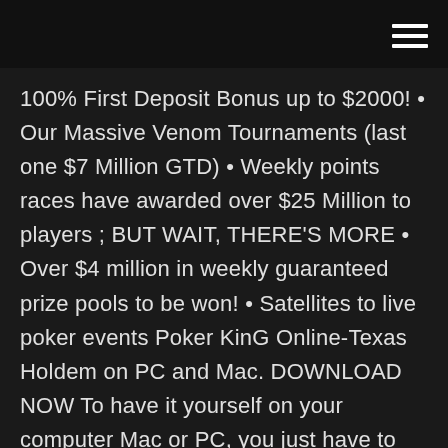100% First Deposit Bonus up to $2000! • Our Massive Venom Tournaments (last one $7 Million GTD) • Weekly points races have awarded over $25 Million to players ; BUT WAIT, THERE'S MORE • Over $4 million in weekly guaranteed prize pools to be won! • Satellites to live poker events Poker KinG Online-Texas Holdem on PC and Mac. DOWNLOAD NOW To have it yourself on your computer Mac or PC, you just have to follow the steps below:. Click here => Download Bluestacks <= to install Bluestack, or here => Download Nox for PCDownload Nox <= to install Nox App Player Once the emulator loaded on your computer, you can launch it and search for "Poker KinG Online-Texas Holdem … 16.01.2019 Scarica questo gioco da Microsoft Store per Windows 10, Windows 10 Mobile. Guarda gli screenshot, leggi le ultime